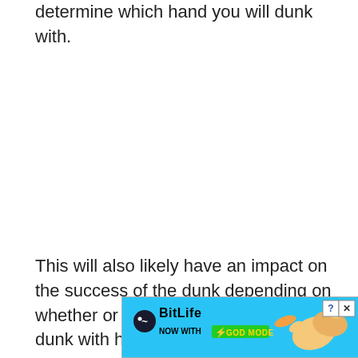determine which hand you will dunk with.
This will also likely have an impact on the success of the dunk depending on whether or not your player attempts the dunk with his strong or weak hand
[Figure (screenshot): BitLife mobile game advertisement banner. Cyan/blue background with BitLife logo (dark circle with squiggle), text 'NOW WITH GOD MODE' in green badge with yellow lightning bolt, and illustrated hand gestures on the right side. Close (X) and help (?) buttons in top right corner.]